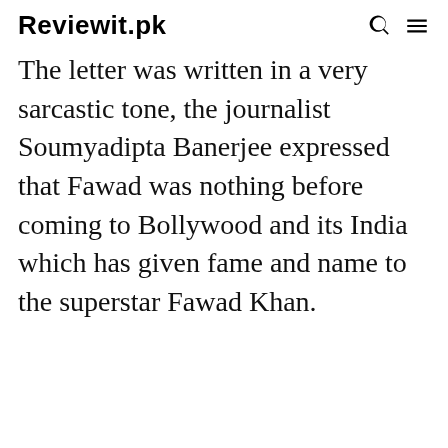Reviewit.pk
The letter was written in a very sarcastic tone, the journalist Soumyadipta Banerjee expressed that Fawad was nothing before coming to Bollywood and its India which has given fame and name to the superstar Fawad Khan.